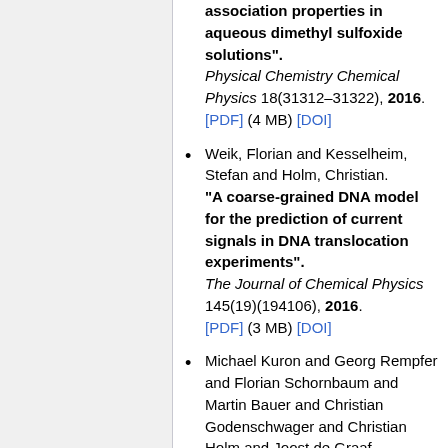association properties in aqueous dimethyl sulfoxide solutions". Physical Chemistry Chemical Physics 18(31312–31322), 2016. [PDF] (4 MB) [DOI]
Weik, Florian and Kesselheim, Stefan and Holm, Christian. "A coarse-grained DNA model for the prediction of current signals in DNA translocation experiments". The Journal of Chemical Physics 145(19)(194106), 2016. [PDF] (3 MB) [DOI]
Michael Kuron and Georg Rempfer and Florian Schornbaum and Martin Bauer and Christian Godenschwager and Christian Holm and Joost de Graaf.